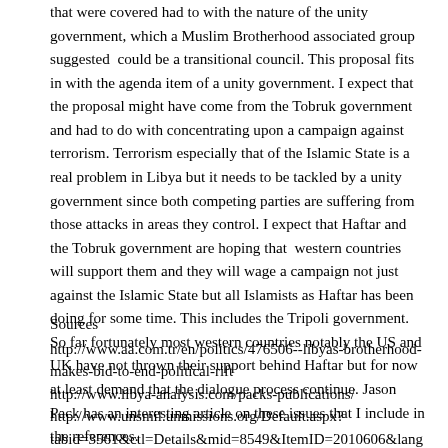that were covered had to with the nature of the unity government, which a Muslim Brotherhood associated group suggested could be a transitional council. This proposal fits in with the agenda item of a unity government. I expect that the proposal might have come from the Tobruk government and had to do with concentrating upon a campaign against terrorism. Terrorism especially that of the Islamic State is a real problem in Libya but it needs to be tackled by a unity government since both competing parties are suffering from those attacks in areas they control. I expect that Haftar and the Tobruk government are hoping that western countries will support them and they will wage a campaign not just against the Islamic State but all Islamists as Haftar has been doing for some time. This includes the Tripoli government. So far fortunately most western countries notably the US and UK have not thrown their support behind Haftar but for now at least demand that the dialogue process continue. Jason Pack has an interesting article on these issues that I include in the references.
Sources
http://www.aa.com.tr/en/politics/476506--libyas-brotherhood-makes-bid-to-end-political-rift
http://www.libya-analysis.com/packs-publications/
http://www.unsmil.unmissions.org/Default.aspx?tabid=3561&ctl=Details&mid=8549&ItemID=2010606&language=en-US
http://www.unsmil.unmissions.org/Default.aspx?